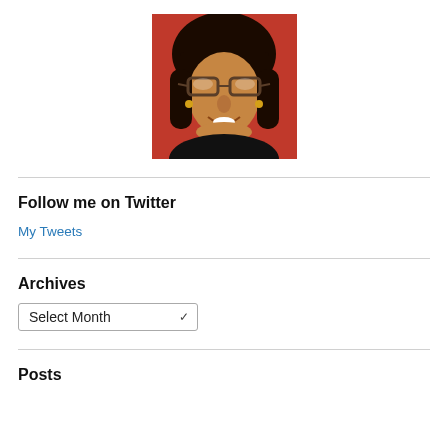[Figure (photo): Profile photo of a woman with dark hair and bangs wearing glasses, smiling, with an orange/red background]
Follow me on Twitter
My Tweets
Archives
Select Month
Posts